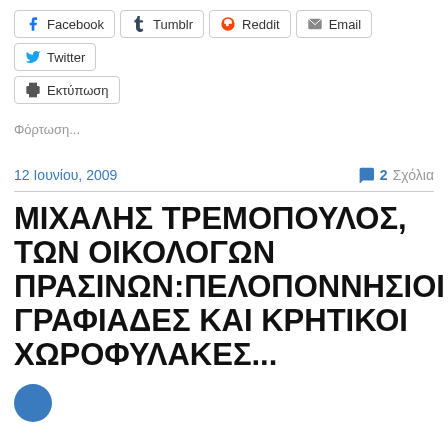Facebook  Tumblr  Reddit  Email  Twitter  Εκτύπωση
Φόρτωση...
12 Ιουνίου, 2009   💬 2 Σχόλια
ΜΙΧΑΛΗΣ ΤΡΕΜΟΠΟΥΛΟΣ, ΤΩΝ ΟΙΚΟΛΟΓΩΝ ΠΡΑΣΙΝΩΝ:ΠΕΛΟΠΟΝΝΗΣΙΟΙ ΓΡΑΦΙΑΔΕΣ ΚΑΙ ΚΡΗΤΙΚΟΙ ΧΩΡΟΦΥΛΑΚΕΣ...